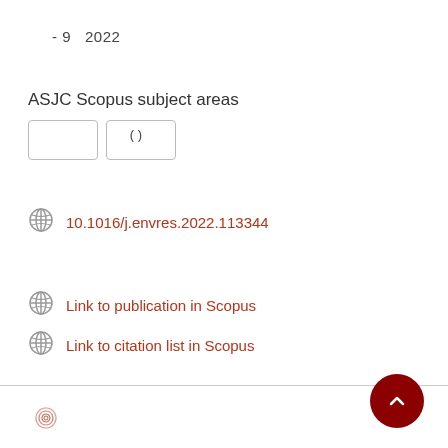- 9  2022
ASJC Scopus subject areas
( )
10.1016/j.envres.2022.113344
Link to publication in Scopus
Link to citation list in Scopus